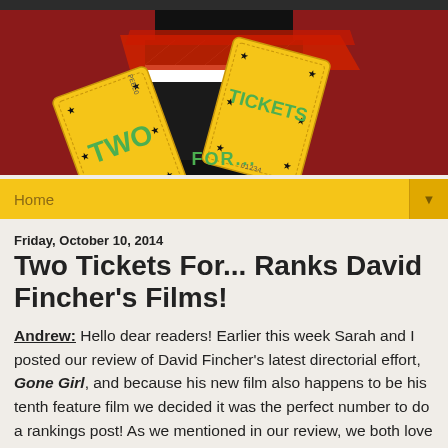[Figure (logo): Two Tickets For... blog logo featuring two golden movie tickets with stars on a red and black clapperboard background, with text 'TWO TICKETS FOR...' in green letters]
Home ▼
Friday, October 10, 2014
Two Tickets For... Ranks David Fincher's Films!
Andrew: Hello dear readers! Earlier this week Sarah and I posted our review of David Fincher's latest directorial effort, Gone Girl, and because his new film also happens to be his tenth feature film we decided it was the perfect number to do a rankings post! As we mentioned in our review, we both love Fincher's stuff. In fact, we own all of his movies except for Gone Girl, but when it does come out on home video you